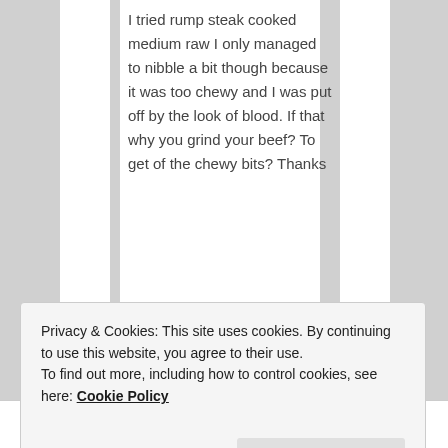I tried rump steak cooked medium raw I only managed to nibble a bit though because it was too chewy and I was put off by the look of blood. If that why you grind your beef? To get of the chewy bits? Thanks
★ Like
Privacy & Cookies: This site uses cookies. By continuing to use this website, you agree to their use. To find out more, including how to control cookies, see here: Cookie Policy
Close and accept
said: